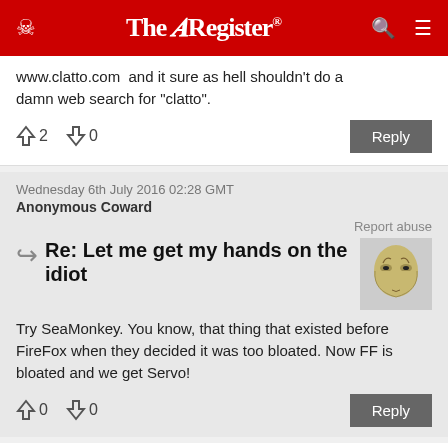The Register
www.clatto.com  and it sure as hell shouldn't do a damn web search for "clatto".
↑2  ↓0   Reply
Wednesday 6th July 2016 02:28 GMT
Anonymous Coward
Report abuse
Re: Let me get my hands on the idiot
Try SeaMonkey. You know, that thing that existed before FireFox when they decided it was too bloated. Now FF is bloated and we get Servo!
↑0  ↓0   Reply
Monday 4th July 2016 18:07 GMT
beep54